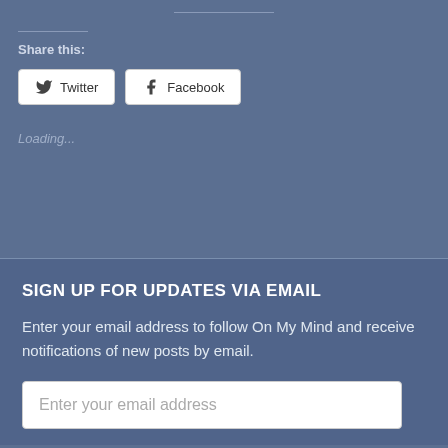Share this:
Twitter
Facebook
Loading...
SIGN UP FOR UPDATES VIA EMAIL
Enter your email address to follow On My Mind and receive notifications of new posts by email.
Enter your email address